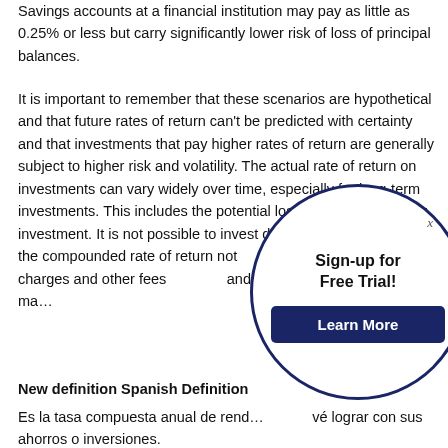Savings accounts at a financial institution may pay as little as 0.25% or less but carry significantly lower risk of loss of principal balances.
It is important to remember that these scenarios are hypothetical and that future rates of return can't be predicted with certainty and that investments that pay higher rates of return are generally subject to higher risk and volatility. The actual rate of return on investments can vary widely over time, especially for long-term investments. This includes the potential loss of principal on your investment. It is not possible to invest directly in an index and the compounded rate of return not not reflect sales charges and other fees and/or investment companies ma
New definition Spanish Definition
Es la tasa compuesta anual de rend vé lograr con sus ahorros o inversiones.
[Figure (other): A circular popup overlay with dark navy border containing 'Sign-up for Free Trial!' text in bold and a dark navy 'Learn More' button, with an X close button]